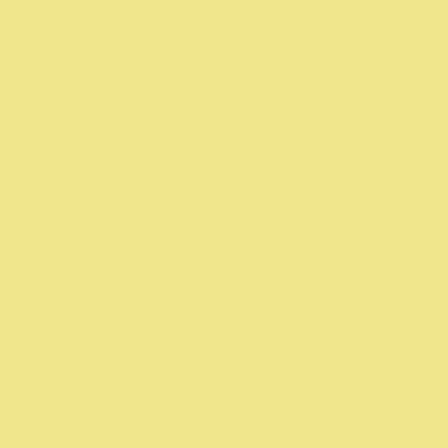Posted by: Tom | Thursday, 17 November 2011 at 07:3...
I love this lens and can find no fault which the "decorative ring" falls off
As much as I like the 20/1.7, I'm fine 14/2.5 and 45/1.8 much more these d I do, and the 45 is perfect for most o
Posted by: Amin Sabet | Thursday, 17 November 2011...
I have the Lumix / Leica 45 macro f with the IS built in. It's one of those nice, but the lack of IS is an issue fo anyway. If only it was black, then it
Posted by: Mike Peters | Thursday, 17 November 2011...
Aftermath and Atget, great shelf!
Posted by: Gary | Thursday, 17 November 2011 at 10:...